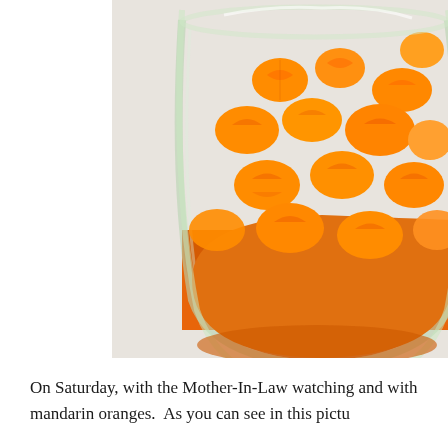[Figure (photo): A glass bowl filled with mandarin orange segments in syrup, viewed from slightly above. The bowl sits on a white/light gray surface. The oranges are bright orange and glistening.]
On Saturday, with the Mother-In-Law watching and with mandarin oranges.  As you can see in this pictu